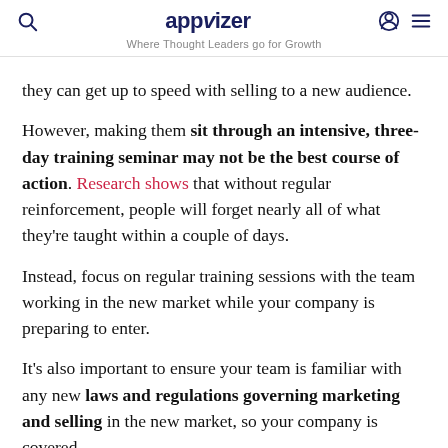appvizer — Where Thought Leaders go for Growth
they can get up to speed with selling to a new audience.
However, making them sit through an intensive, three-day training seminar may not be the best course of action. Research shows that without regular reinforcement, people will forget nearly all of what they're taught within a couple of days.
Instead, focus on regular training sessions with the team working in the new market while your company is preparing to enter.
It's also important to ensure your team is familiar with any new laws and regulations governing marketing and selling in the new market, so your company is covered